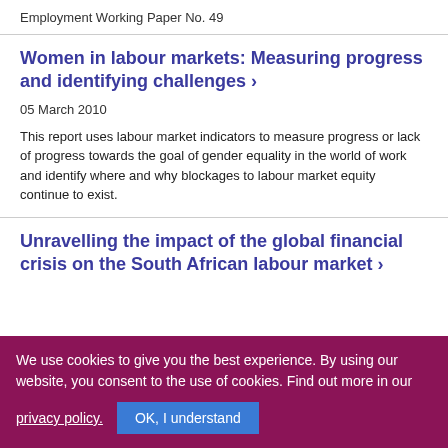Employment Working Paper No. 49
Women in labour markets: Measuring progress and identifying challenges ›
05 March 2010
This report uses labour market indicators to measure progress or lack of progress towards the goal of gender equality in the world of work and identify where and why blockages to labour market equity continue to exist.
Unravelling the impact of the global financial crisis on the South African labour market ›
We use cookies to give you the best experience. By using our website, you consent to the use of cookies. Find out more in our privacy policy.